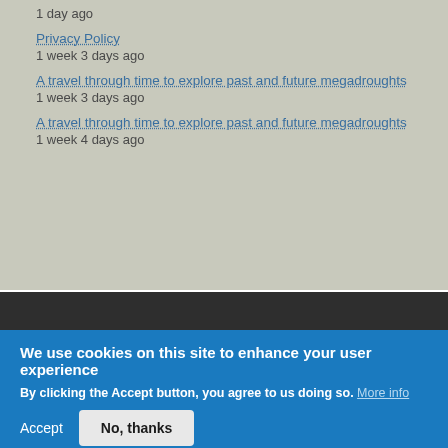1 day ago
Privacy Policy
1 week 3 days ago
A travel through time to explore past and future megadroughts
1 week 3 days ago
A travel through time to explore past and future megadroughts
1 week 4 days ago
Privacy policy
We use cookies on this site to enhance your user experience
By clicking the Accept button, you agree to us doing so. More info
Accept
No, thanks